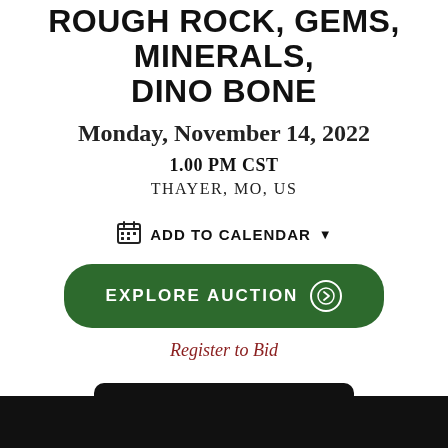ROUGH ROCK, GEMS, MINERALS, DINO BONE
Monday, November 14, 2022
1.00 PM CST
THAYER, MO, US
ADD TO CALENDAR
EXPLORE AUCTION
Register to Bid
TIMED AUCTION